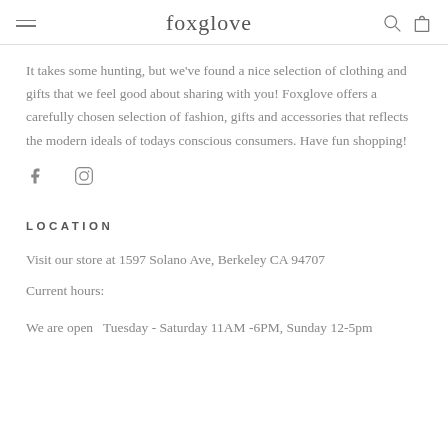foxglove
It takes some hunting, but we've found a nice selection of clothing and gifts that we feel good about sharing with you! Foxglove offers a carefully chosen selection of fashion, gifts and accessories that reflects the modern ideals of todays conscious consumers. Have fun shopping!
[Figure (illustration): Social media icons: Facebook (f) and Instagram (circle with rounded square inside)]
LOCATION
Visit our store at 1597 Solano Ave, Berkeley CA 94707
Current hours:
We are open  Tuesday - Saturday 11AM -6PM, Sunday 12-5pm